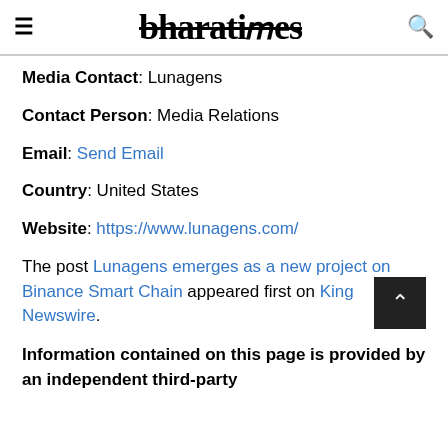bharatimes
Media Contact: Lunagens
Contact Person: Media Relations
Email: Send Email
Country: United States
Website: https://www.lunagens.com/
The post Lunagens emerges as a new project on Binance Smart Chain appeared first on King Newswire.
Information contained on this page is provided by an independent third-party